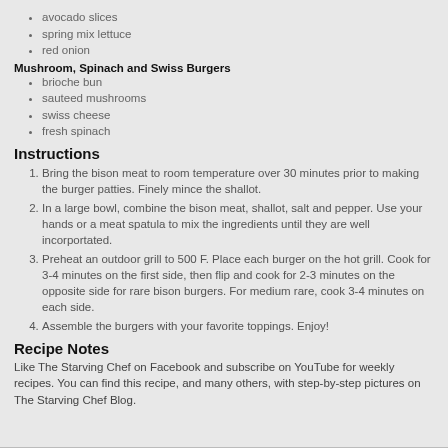avocado slices
spring mix lettuce
red onion
Mushroom, Spinach and Swiss Burgers
brioche bun
sauteed mushrooms
swiss cheese
fresh spinach
Instructions
Bring the bison meat to room temperature over 30 minutes prior to making the burger patties. Finely mince the shallot.
In a large bowl, combine the bison meat, shallot, salt and pepper. Use your hands or a meat spatula to mix the ingredients until they are well incorportated.
Preheat an outdoor grill to 500 F. Place each burger on the hot grill. Cook for 3-4 minutes on the first side, then flip and cook for 2-3 minutes on the opposite side for rare bison burgers. For medium rare, cook 3-4 minutes on each side.
Assemble the burgers with your favorite toppings. Enjoy!
Recipe Notes
Like The Starving Chef on Facebook and subscribe on YouTube for weekly recipes. You can find this recipe, and many others, with step-by-step pictures on The Starving Chef Blog.